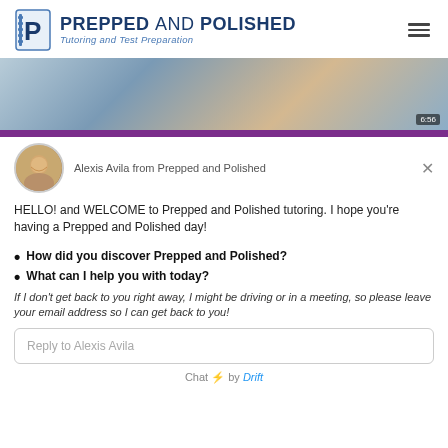PREPPED AND POLISHED Tutoring and Test Preparation
[Figure (photo): Video thumbnail showing a person in a blue shirt writing, with another person visible, timestamp 6:56 shown in lower right]
[Figure (photo): Round avatar photo of Alexis Avila, a smiling man]
Alexis Avila from Prepped and Polished
HELLO! and WELCOME to Prepped and Polished tutoring. I hope you're having a Prepped and Polished day!
How did you discover Prepped and Polished?
What can I help you with today?
If I don't get back to you right away, I might be driving or in a meeting, so please leave your email address so I can get back to you!
Reply to Alexis Avila
Chat ⚡ by Drift